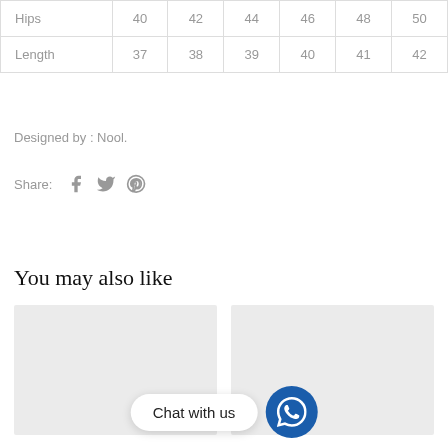|  | 40 | 42 | 44 | 46 | 48 | 50 |
| --- | --- | --- | --- | --- | --- | --- |
| Hips | 40 | 42 | 44 | 46 | 48 | 50 |
| Length | 37 | 38 | 39 | 40 | 41 | 42 |
Designed by : Nool.
Share: [Facebook] [Twitter] [Pinterest]
You may also like
[Figure (other): Two product thumbnail placeholder boxes (light gray)]
Chat with us